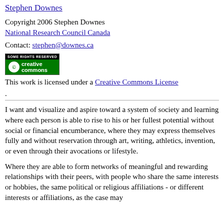Stephen Downes
Copyright 2006 Stephen Downes
National Research Council Canada
Contact: stephen@downes.ca
[Figure (logo): Creative Commons 'Some Rights Reserved' badge with green creative commons logo]
This work is licensed under a Creative Commons License.
.
I want and visualize and aspire toward a system of society and learning where each person is able to rise to his or her fullest potential without social or financial encumberance, where they may express themselves fully and without reservation through art, writing, athletics, invention, or even through their avocations or lifestyle.
Where they are able to form networks of meaningful and rewarding relationships with their peers, with people who share the same interests or hobbies, the same political or religious affiliations - or different interests or affiliations, as the case may be.